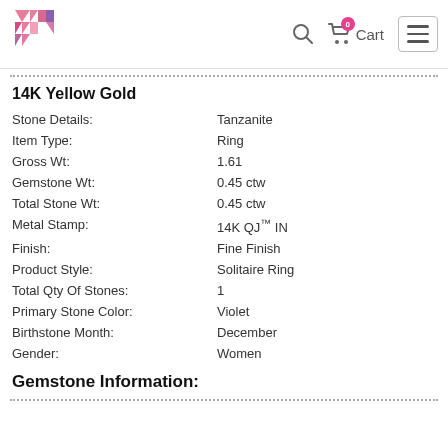[Figure (logo): Brand logo made of pink and purple triangles forming a stylized shape]
14K Yellow Gold
Stone Details: Tanzanite
Item Type: Ring
Gross Wt: 1.61
Gemstone Wt: 0.45 ctw
Total Stone Wt: 0.45 ctw
Metal Stamp: 14K QJ™ IN
Finish: Fine Finish
Product Style: Solitaire Ring
Total Qty Of Stones: 1
Primary Stone Color: Violet
Birthstone Month: December
Gender: Women
Gemstone Information: